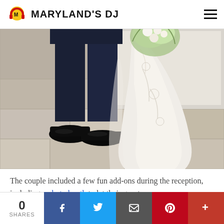MARYLAND'S DJ
[Figure (photo): Wedding photo showing the lower half of a bride in a white lace gown and groom in dark suit with black dress shoes, standing on a granite stone tile patio outdoors]
The couple included a few fun add-ons during the reception, including a photo booth to let their guests
0 SHARES | Facebook | Twitter | Email | Pinterest | More